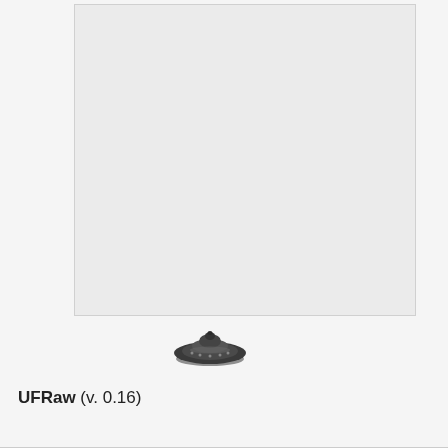[Figure (photo): Large light gray/white rectangle representing a blank or overexposed photo area, serving as a placeholder image in a software about dialog.]
[Figure (illustration): Small dark UFO/flying saucer icon positioned below the large gray rectangle, serving as the application logo for UFRaw.]
UFRaw (v. 0.16)